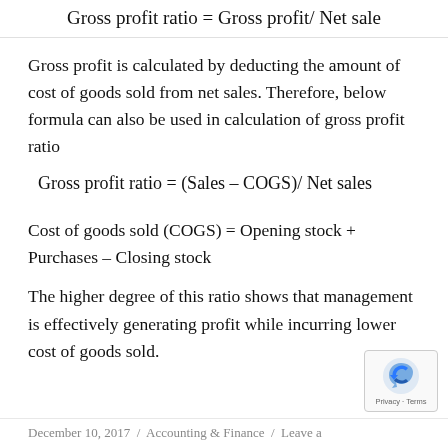Gross profit is calculated by deducting the amount of cost of goods sold from net sales. Therefore, below formula can also be used in calculation of gross profit ratio
Cost of goods sold (COGS) = Opening stock + Purchases – Closing stock
The higher degree of this ratio shows that management is effectively generating profit while incurring lower cost of goods sold.
December 10, 2017  /  Accounting & Finance  /  Leave a